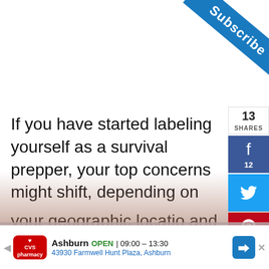[Figure (other): Blue Subscribe ribbon in top-right corner]
If you have started labeling yourself as a survival prepper, your top concerns might shift, depending on your geographic location and the current state of the world.
For example, if you are located in an area that has hurricanes, tornadoes, or earthquakes, then you may have prepared
[Figure (other): Share sidebar with 13 SHARES count, Facebook (12), Twitter, Pinterest (1) buttons]
[Figure (other): Media overlay: No compatible source was found for this media. with close button X]
[Figure (other): Advertisement bar: CVS Pharmacy, Ashburn, OPEN 09:00-13:30, 43930 Farmwell Hunt Plaza, Ashburn with navigation arrow icon]